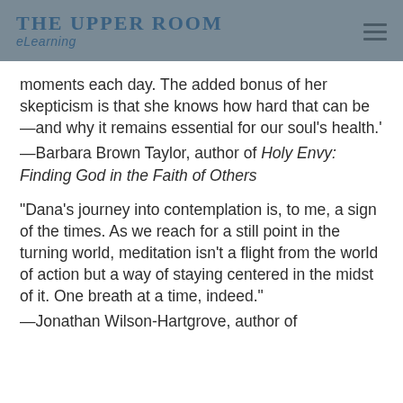THE UPPER ROOM eLearning
moments each day. The added bonus of her skepticism is that she knows how hard that can be—and why it remains essential for our soul's health.'
—Barbara Brown Taylor, author of Holy Envy: Finding God in the Faith of Others
"Dana's journey into contemplation is, to me, a sign of the times. As we reach for a still point in the turning world, meditation isn't a flight from the world of action but a way of staying centered in the midst of it. One breath at a time, indeed."
—Jonathan Wilson-Hartgrove, author of